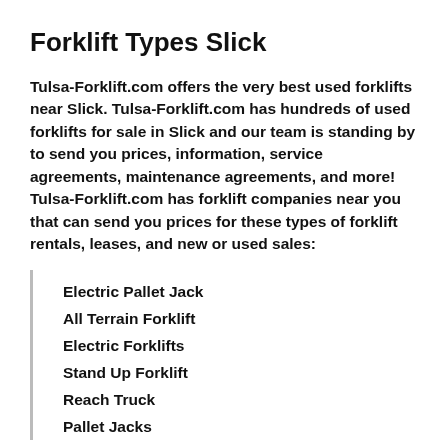Forklift Types Slick
Tulsa-Forklift.com offers the very best used forklifts near Slick. Tulsa-Forklift.com has hundreds of used forklifts for sale in Slick and our team is standing by to send you prices, information, service agreements, maintenance agreements, and more! Tulsa-Forklift.com has forklift companies near you that can send you prices for these types of forklift rentals, leases, and new or used sales:
Electric Pallet Jack
All Terrain Forklift
Electric Forklifts
Stand Up Forklift
Reach Truck
Pallet Jacks